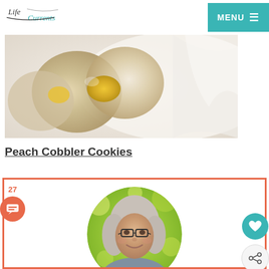Life Currents — MENU
[Figure (photo): Close-up photo of white cookies or pastries with golden/yellow filling, on a light background]
Peach Cobbler Cookies
[Figure (photo): Author card with orange border showing a circular headshot of a smiling woman with gray hair and glasses, on a green bokeh background. Number 27 and chat/comment icon on left side. Heart/like and share icons on right side.]